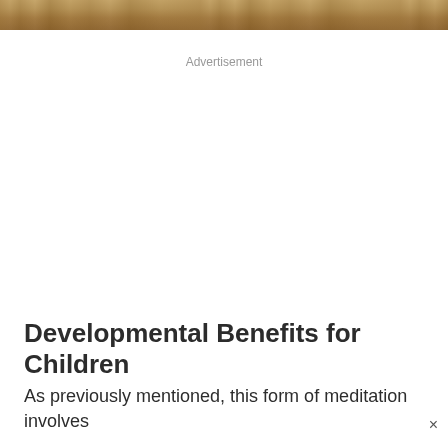[Figure (photo): Partial photo strip at top of page showing a wooden surface or table, likely with children or educational items, cropped at the top edge.]
Advertisement
Developmental Benefits for Children
As previously mentioned, this form of meditation involves